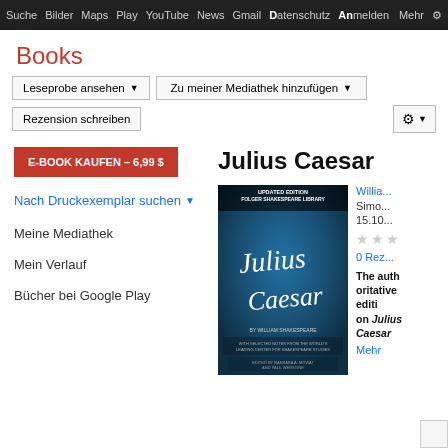Suche  Bilder  Maps  Play  YouTube  News  Gmail  Datenschutz  Anmelden  Mehr
Books
Leseprobe ansehen
Zu meiner Mediathek hinzufügen
Rezension schreiben
E-BOOK KAUFEN – 6,99 $
Nach Druckexemplar suchen ▼
Meine Mediathek
Mein Verlauf
Bücher bei Google Play
Julius Caesar
[Figure (photo): Book cover of Julius Caesar - Folger Shakespeare Library Updated Edition, blue background with script title]
Willia...
Simo...
15.10...
0 Rez...
The authoritative edition Julius Caesar
Mehr